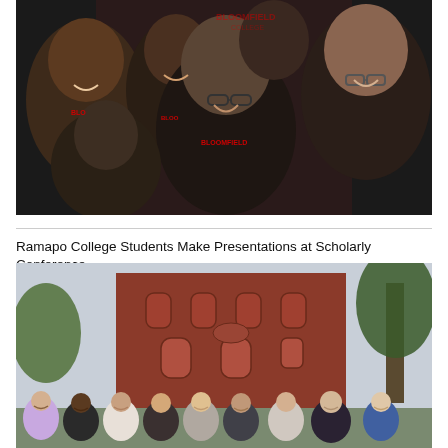[Figure (photo): Group photo of students wearing black Bloomfield College t-shirts in front of a Bloomfield College branded backdrop with the college logo.]
Ramapo College Students Make Presentations at Scholarly Conference
[Figure (photo): Group of college students and faculty standing in front of a red brick building at what appears to be a scholarly conference venue.]